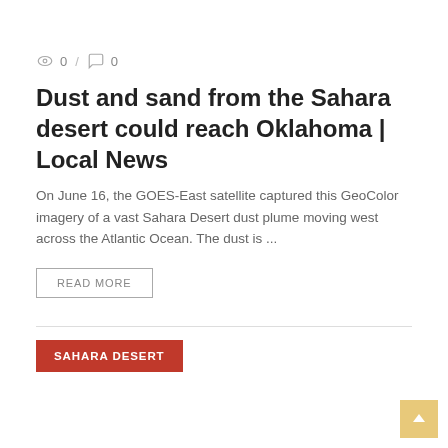0 / 0
Dust and sand from the Sahara desert could reach Oklahoma | Local News
On June 16, the GOES-East satellite captured this GeoColor imagery of a vast Sahara Desert dust plume moving west across the Atlantic Ocean. The dust is ...
READ MORE
SAHARA DESERT